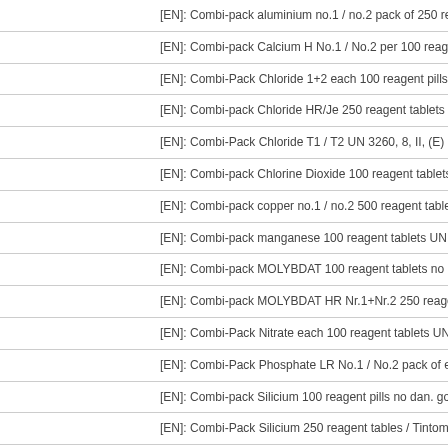| [EN]: Combi-pack aluminium no.1 / no.2 pack of 250 reagent tables / Tintom |
| [EN]: Combi-pack Calcium H No.1 / No.2 per 100 reagent tablets (no dan. go |
| [EN]: Combi-Pack Chloride 1+2 each 100 reagent pills UN 3260, 8, II, (E) / T |
| [EN]: Combi-pack Chloride HR/Je 250 reagent tablets / Tintometer |
| [EN]: Combi-Pack Chloride T1 / T2 UN 3260, 8, II, (E) pack of each 250 reag |
| [EN]: Combi-pack Chlorine Dioxide 100 reagent tablets / Tintometer |
| [EN]: Combi-pack copper no.1 / no.2 500 reagent tablets / Tintometer |
| [EN]: Combi-pack manganese 100 reagent tablets UN 2680, 8, II, (E) / Tinto |
| [EN]: Combi-pack MOLYBDAT 100 reagent tablets no dan. goods / Tintomet |
| [EN]: Combi-pack MOLYBDAT HR Nr.1+Nr.2 250 reagent tablets no dan. go |
| [EN]: Combi-Pack Nitrate each 100 reagent tablets UN 3316, 9, II, (E) / Tinto |
| [EN]: Combi-Pack Phosphate LR No.1 / No.2 pack of each 100 reagent pills |
| [EN]: Combi-pack Silicium 100 reagent pills no dan. goods / Tintometer |
| [EN]: Combi-Pack Silicium 250 reagent tables / Tintometer |
| [EN]: Conductivity hand meter SD70Con 0...+60°C, < 20,00 mS, 22 x 22 mm |
| [EN]: Conductivity solution 1413 µs/cm, 250ml / Tintometer |
| [EN]: Conformance certificate for new water testing disc / Tintometer |
| [EN]: Cooling Water Test Kit 2 / Tintometer |